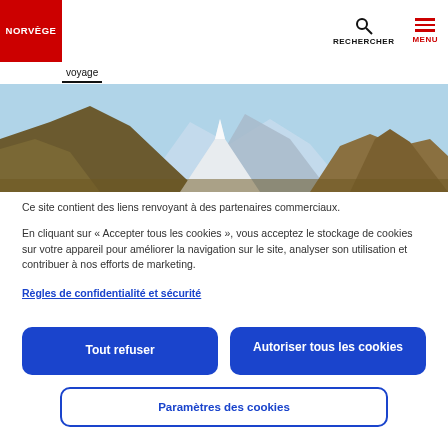NORVÈGE | RECHERCHER | MENU
voyage
[Figure (photo): Mountain landscape panorama with rocky peaks and snow, blue sky]
Ce site contient des liens renvoyant à des partenaires commerciaux.
En cliquant sur « Accepter tous les cookies », vous acceptez le stockage de cookies sur votre appareil pour améliorer la navigation sur le site, analyser son utilisation et contribuer à nos efforts de marketing.
Règles de confidentialité et sécurité
Tout refuser
Autoriser tous les cookies
Paramètres des cookies